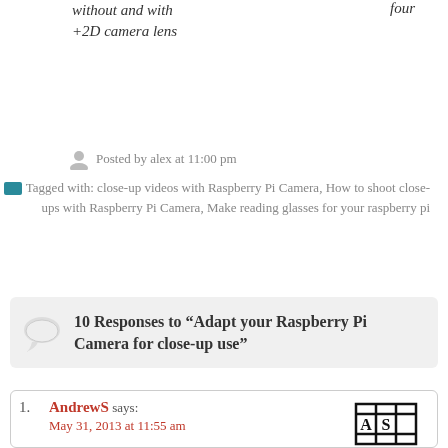without and with +2D camera lens
four
Posted by alex at 11:00 pm
Tagged with: close-up videos with Raspberry Pi Camera, How to shoot close-ups with Raspberry Pi Camera, Make reading glasses for your raspberry pi
10 Responses to “Adapt your Raspberry Pi Camera for close-up use”
AndrewS says: May 31, 2013 at 11:55 am
Interesting...
If you’re more worried about close-up detail than you are about contrast, could you break the cheap reading glasses in half and stack the two lenses (left & right) in front of each other to reduce the focal distance even further?